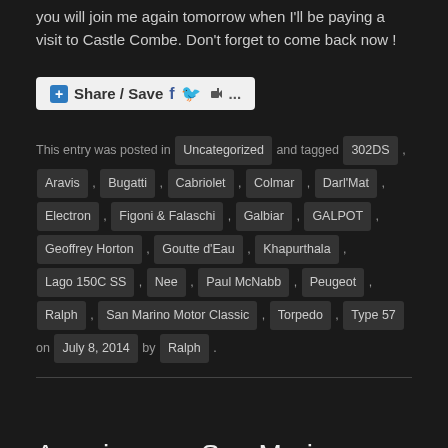you will join me again tomorrow when I'll be paying a visit to Castle Combe. Don't forget to come back now !
[Figure (other): Share / Save button with Facebook, Twitter, and share icons]
This entry was posted in Uncategorized and tagged 302DS , Aravis , Bugatti , Cabriolet , Colmar , Darl'Mat , Electron , Figoni & Falaschi , Galbiar , GALPOT , Geoffrey Horton , Goutte d'Eau , Khapurthala , Lago 150C SS , Nee , Paul McNabb , Peugeot , Ralph , San Marino Motor Classic , Torpedo , Type 57 on July 8, 2014 by Ralph .
Americana – San Marino Motor Classic
1 Reply